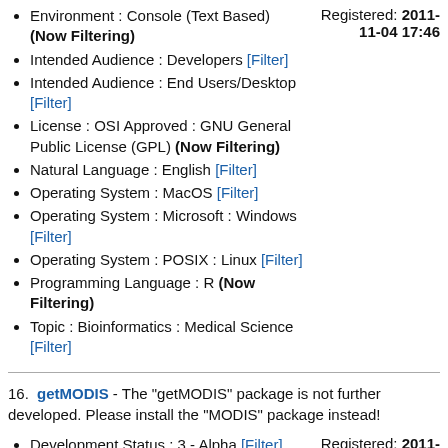Environment : Console (Text Based) (Now Filtering)
Intended Audience : Developers [Filter]
Intended Audience : End Users/Desktop [Filter]
License : OSI Approved : GNU General Public License (GPL) (Now Filtering)
Natural Language : English [Filter]
Operating System : MacOS [Filter]
Operating System : Microsoft : Windows [Filter]
Operating System : POSIX : Linux [Filter]
Programming Language : R (Now Filtering)
Topic : Bioinformatics : Medical Science [Filter]
Registered: 2011-11-04 17:46
16. getMODIS - The &quot;getMODIS&quot; package is not further developed. Please install the &quot;MODIS&quot; package instead!
Development Status : 3 - Alpha [Filter]
Environment : Console (Text Based) (Now Filtering)
License : OSI Approved : GNU General Public License (GPL) (Now Filtering)
Natural Language : English [Filter]
Registered: 2011-08-10 11:10